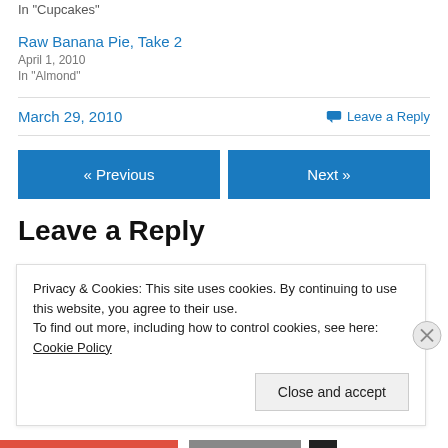In "Cupcakes"
Raw Banana Pie, Take 2
April 1, 2010
In "Almond"
March 29, 2010
Leave a Reply
« Previous
Next »
Leave a Reply
Privacy & Cookies: This site uses cookies. By continuing to use this website, you agree to their use.
To find out more, including how to control cookies, see here: Cookie Policy
Close and accept